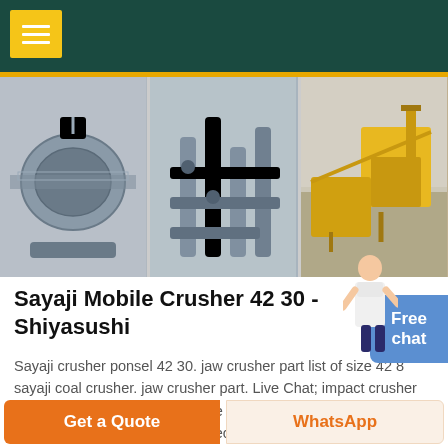[Figure (screenshot): Dark teal header bar with yellow hamburger menu icon]
[Figure (photo): Three industrial machinery photos: a drum/ball mill machine, industrial piping/processing equipment, and an outdoor crushing/mining plant with yellow machinery]
Sayaji Mobile Crusher 42 30 - Shiyasushi
Sayaji crusher ponsel 42 30. jaw crusher part list of size 42 8 sayaji coal crusher. jaw crusher part. Live Chat; impact crusher part list of size 428 sayaji Mobile . impact crusher part list of size 428 sayaji. heavy industry is specialized in the design, manufacture and supply of crushing equipment
Get a Quote
WhatsApp